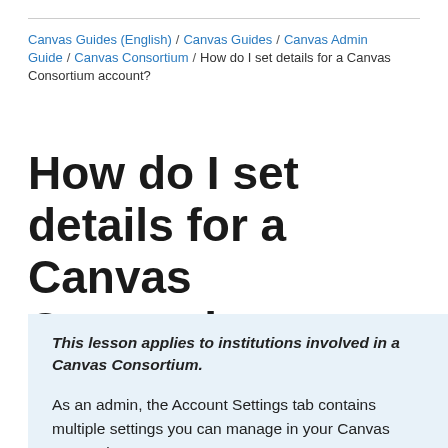Canvas Guides (English) / Canvas Guides / Canvas Admin Guide / Canvas Consortium / How do I set details for a Canvas Consortium account?
How do I set details for a Canvas Consortium account?
This lesson applies to institutions involved in a Canvas Consortium. As an admin, the Account Settings tab contains multiple settings you can manage in your Canvas Consortium account.